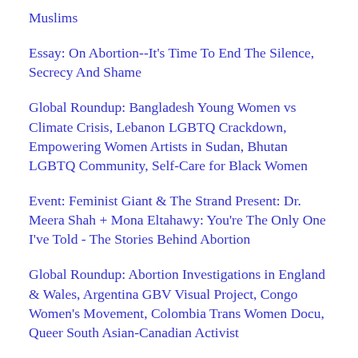Muslims
Essay: On Abortion--It's Time To End The Silence, Secrecy And Shame
Global Roundup: Bangladesh Young Women vs Climate Crisis, Lebanon LGBTQ Crackdown, Empowering Women Artists in Sudan, Bhutan LGBTQ Community, Self-Care for Black Women
Event: Feminist Giant & The Strand Present: Dr. Meera Shah + Mona Eltahawy: You're The Only One I've Told - The Stories Behind Abortion
Global Roundup: Abortion Investigations in England & Wales, Argentina GBV Visual Project, Congo Women's Movement, Colombia Trans Women Docu, Queer South Asian-Canadian Activist